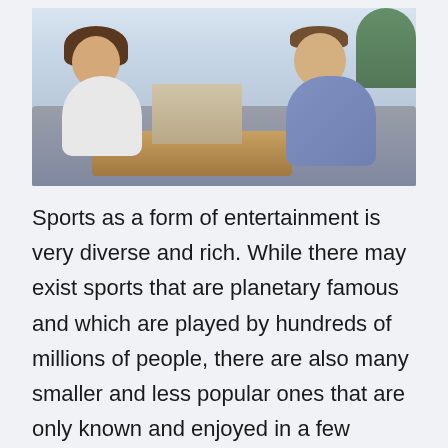[Figure (photo): A man and a woman sitting on a sofa, both leaning forward excitedly with fists raised, watching a laptop on a coffee table in front of them.]
Sports as a form of entertainment is very diverse and rich. While there may exist sports that are planetary famous and which are played by hundreds of millions of people, there are also many smaller and less popular ones that are only known and enjoyed in a few countries, or even a single country.